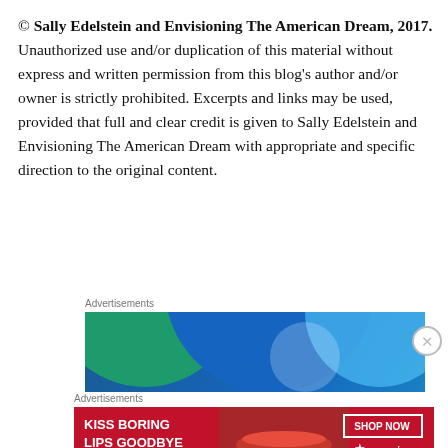© Sally Edelstein and Envisioning The American Dream, 2017. Unauthorized use and/or duplication of this material without express and written permission from this blog's author and/or owner is strictly prohibited. Excerpts and links may be used, provided that full and clear credit is given to Sally Edelstein and Envisioning The American Dream with appropriate and specific direction to the original content.
Advertisements
[Figure (illustration): Advertisement banner with overlapping green, blue, and light blue circles on a dark blue background]
Advertisements
[Figure (illustration): Macy's advertisement: KISS BORING LIPS GOODBYE with SHOP NOW button and Macy's star logo on red background]